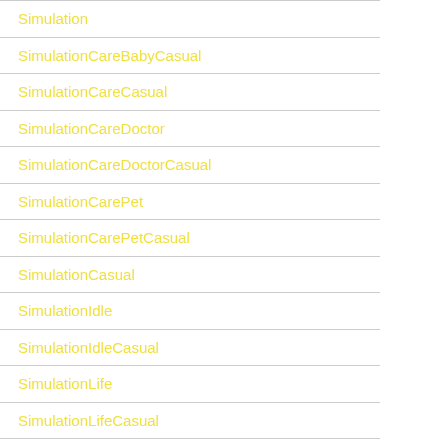Simulation
SimulationCareBabyCasual
SimulationCareCasual
SimulationCareDoctor
SimulationCareDoctorCasual
SimulationCarePet
SimulationCarePetCasual
SimulationCasual
SimulationIdle
SimulationIdleCasual
SimulationLife
SimulationLifeCasual